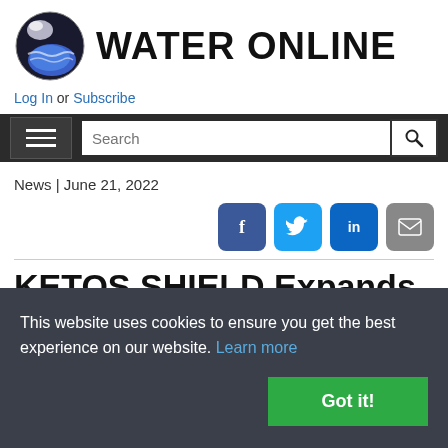[Figure (logo): Water Online logo: globe with water wave icon and bold text 'WATER ONLINE']
Log In or Subscribe
[Figure (screenshot): Navigation bar with hamburger menu button and search box]
News | June 21, 2022
[Figure (infographic): Social share buttons: Facebook, Twitter, LinkedIn, Email]
KETOS SHIELD Expands Water
This website uses cookies to ensure you get the best experience on our website. Learn more
Got it!